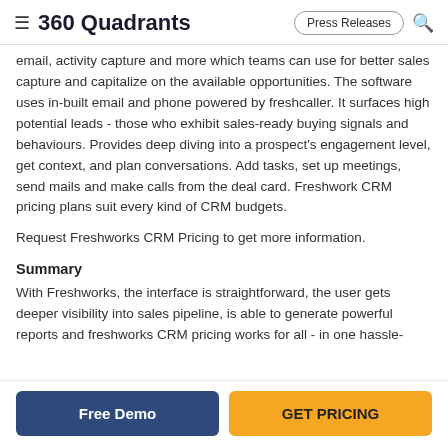≡ 360 Quadrants | Press Releases 🔍
email, activity capture and more which teams can use for better sales capture and capitalize on the available opportunities. The software uses in-built email and phone powered by freshcaller. It surfaces high potential leads - those who exhibit sales-ready buying signals and behaviours. Provides deep diving into a prospect's engagement level, get context, and plan conversations. Add tasks, set up meetings, send mails and make calls from the deal card. Freshwork CRM pricing plans suit every kind of CRM budgets.
Request Freshworks CRM Pricing to get more information.
Summary
With Freshworks, the interface is straightforward, the user gets deeper visibility into sales pipeline, is able to generate powerful reports and freshworks CRM pricing works for all - in one hassle-